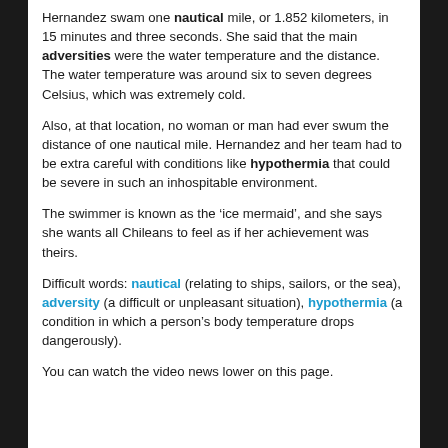Hernandez swam one nautical mile, or 1.852 kilometers, in 15 minutes and three seconds. She said that the main adversities were the water temperature and the distance. The water temperature was around six to seven degrees Celsius, which was extremely cold.
Also, at that location, no woman or man had ever swum the distance of one nautical mile. Hernandez and her team had to be extra careful with conditions like hypothermia that could be severe in such an inhospitable environment.
The swimmer is known as the ‘ice mermaid’, and she says she wants all Chileans to feel as if her achievement was theirs.
Difficult words: nautical (relating to ships, sailors, or the sea), adversity (a difficult or unpleasant situation), hypothermia (a condition in which a person’s body temperature drops dangerously).
You can watch the video news lower on this page.